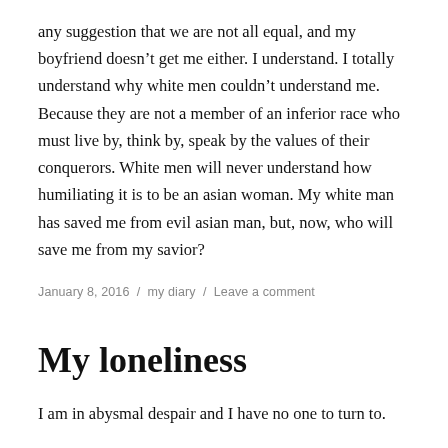any suggestion that we are not all equal, and my boyfriend doesn’t get me either. I understand. I totally understand why white men couldn’t understand me. Because they are not a member of an inferior race who must live by, think by, speak by the values of their conquerors. White men will never understand how humiliating it is to be an asian woman. My white man has saved me from evil asian man, but, now, who will save me from my savior?
January 8, 2016 / my diary / Leave a comment
My loneliness
I am in abysmal despair and I have no one to turn to.